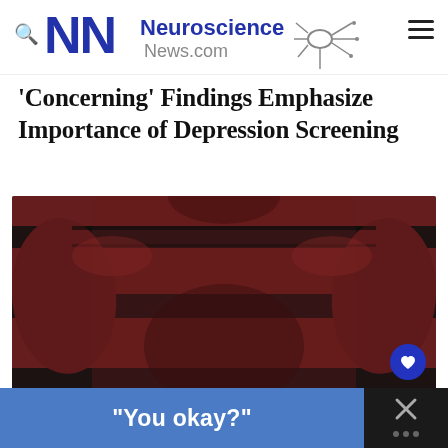[Figure (logo): Neuroscience News.com logo with stylized NN letters in blue and neuron graphic]
'Concerning' Findings Emphasize Importance of Depression Screening
[Figure (photo): Person wearing a dark red and black striped t-shirt, torso view, hands behind back]
"You okay?"